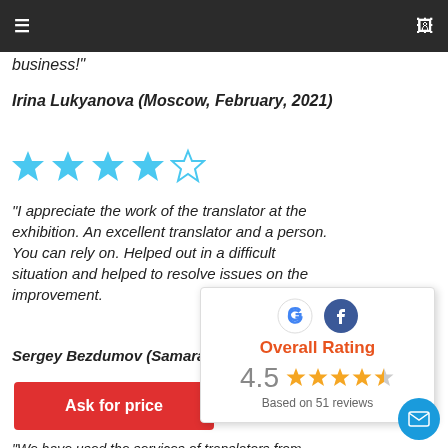≡  ☐
business!"
Irina Lukyanova (Moscow, February, 2021)
[Figure (other): 4 out of 5 stars rating — 4 blue filled stars and 1 empty star]
"I appreciate the work of the translator at the exhibition. An excellent translator and a person. You can rely on. Helped out in a difficult situation and helped to resolve issues on the improvement.
Sergey Bezdumov (Samara,
[Figure (infographic): Overall Rating popup with Google and Facebook logos, showing 4.5 stars based on 51 reviews]
Ask for price
"We have used the services of translators from Lingohaus many times. The services were always